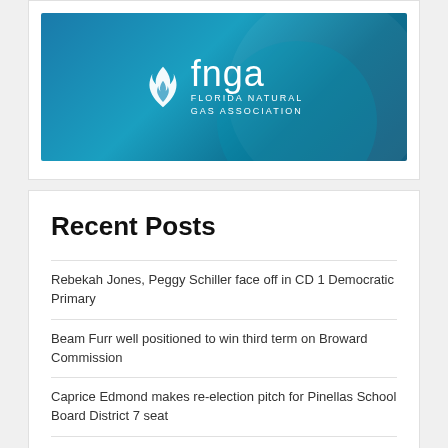[Figure (logo): Florida Natural Gas Association (fnga) logo on a blue gradient background with stylized flame icon]
Recent Posts
Rebekah Jones, Peggy Schiller face off in CD 1 Democratic Primary
Beam Furr well positioned to win third term on Broward Commission
Caprice Edmond makes re-election pitch for Pinellas School Board District 7 seat
Lisa Cane emphasizes 'transformative power of arts and humanities' in Pinellas School Board bid
Manatee County primaries will close bitter, personal campaign season